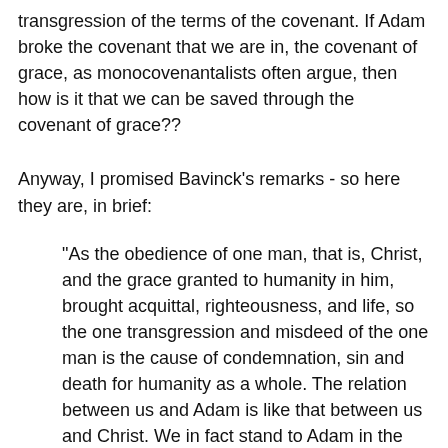transgression of the terms of the covenant. If Adam broke the covenant that we are in, the covenant of grace, as monocovenantalists often argue, then how is it that we can be saved through the covenant of grace??
Anyway, I promised Bavinck's remarks - so here they are, in brief:
"As the obedience of one man, that is, Christ, and the grace granted to humanity in him, brought acquittal, righteousness, and life, so the one transgression and misdeed of the one man is the cause of condemnation, sin and death for humanity as a whole. The relation between us and Adam is like that between us and Christ. We in fact stand to Adam in the same relation. He is a type of Christ, our head, from whom guilt and death accrue to us because of his transgression. He is the cause of the death of us all; we all die in Adam (1 Cor. 15:22). Here, too, Adam's relation to God is a covenant relation, described now not so much in the direction of God as in the direction of those who are included in that